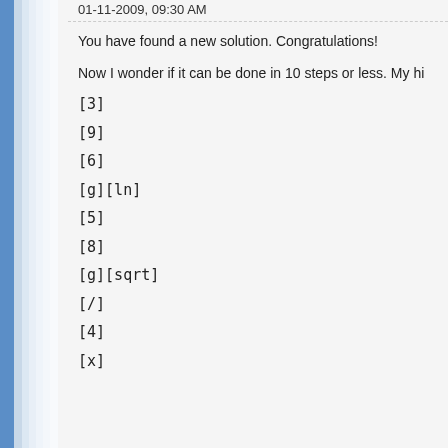01-11-2009, 09:30 AM
You have found a new solution. Congratulations!
Now I wonder if it can be done in 10 steps or less. My hi
[3]
[9]
[6]
[g][ln]
[5]
[8]
[g][sqrt]
[/]
[4]
[x]